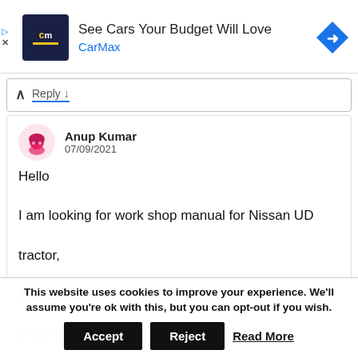[Figure (screenshot): CarMax advertisement banner with logo, tagline 'See Cars Your Budget Will Love', brand name 'CarMax' in blue, and a blue diamond navigation icon]
Reply ↓
Anup Kumar
07/09/2021
Hello

I am looking for work shop manual for Nissan UD

tractor,

Year 2002

Eng PE 8
This website uses cookies to improve your experience. We'll assume you're ok with this, but you can opt-out if you wish.